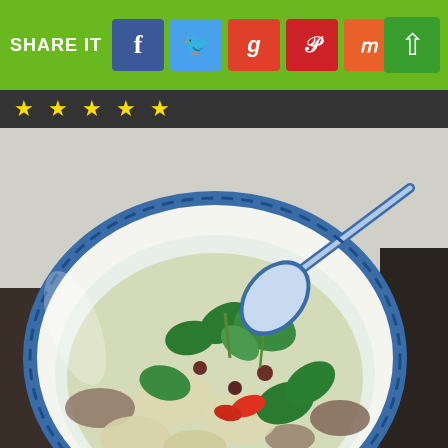[Figure (other): Share It bar with social media icons: Facebook (blue), Twitter (blue), Google+ (red), Pinterest (red), StumbleUpon (orange), and an up arrow button on the right, all on a green background.]
★ ★ ★ ★ ★
[Figure (photo): Photo of a blue and white Chinese-style bowl filled with Tom Kha or similar Asian soup, garnished with fresh green herbs (mint/coriander), red chili slices, mushrooms, and other vegetables. A blue and white Chinese spoon rests in the bowl. The bowl is on a dark wooden surface.]